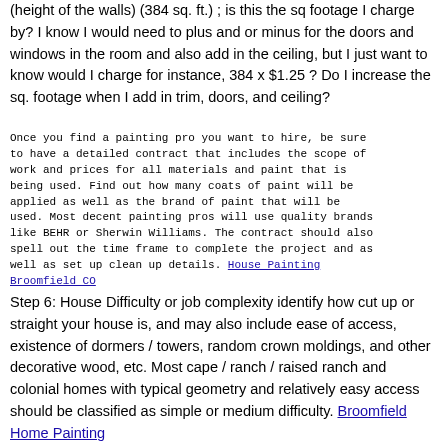(height of the walls) (384 sq. ft.) ; is this the sq footage I charge by? I know I would need to plus and or minus for the doors and windows in the room and also add in the ceiling, but I just want to know would I charge for instance, 384 x $1.25 ? Do I increase the sq. footage when I add in trim, doors, and ceiling?
Once you find a painting pro you want to hire, be sure to have a detailed contract that includes the scope of work and prices for all materials and paint that is being used. Find out how many coats of paint will be applied as well as the brand of paint that will be used. Most decent painting pros will use quality brands like BEHR or Sherwin Williams. The contract should also spell out the time frame to complete the project and as well as set up clean up details. House Painting Broomfield CO
Step 6: House Difficulty or job complexity identify how cut up or straight your house is, and may also include ease of access, existence of dormers / towers, random crown moldings, and other decorative wood, etc. Most cape / ranch / raised ranch and colonial homes with typical geometry and relatively easy access should be classified as simple or medium difficulty. Broomfield Home Painting